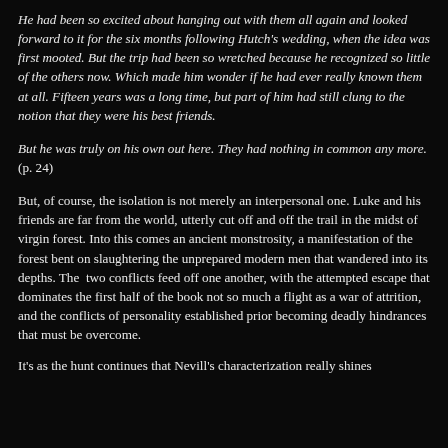He had been so excited about hanging out with them all again and looked forward to it for the six months following Hutch's wedding, when the idea was first mooted. But the trip had been so wretched because he recognized so little of the others now. Which made him wonder if he had ever really known them at all. Fifteen years was a long time, but part of him had still clung to the notion that they were his best friends.
But he was truly on his own out here. They had nothing in common any more. (p. 24)
But, of course, the isolation is not merely an interpersonal one. Luke and his friends are far from the world, utterly cut off and off the trail in the midst of virgin forest. Into this comes an ancient monstrosity, a manifestation of the forest bent on slaughtering the unprepared modern men that wandered into its depths. The  two conflicts feed off one another, with the attempted escape that dominates the first half of the book not so much a flight as a war of attrition, and the conflicts of personality established prior becoming deadly hindrances that must be overcome.
It's as the hunt continues that Nevill's characterization really shines